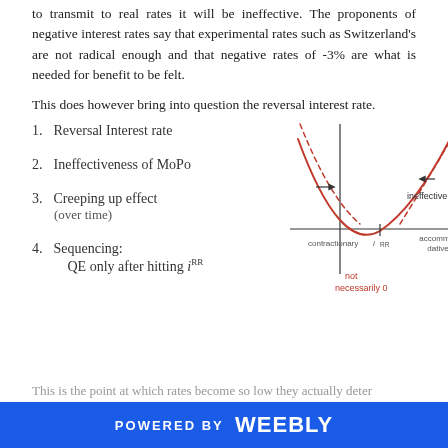to transmit to real rates it will be ineffective. The proponents of negative interest rates say that experimental rates such as Switzerland's are not radical enough and that negative rates of -3% are what is needed for benefit to be felt.
This does however bring into question the reversal interest rate.
1. Reversal Interest rate
2. Ineffectiveness of MoPo
3. Creeping up effect (over time)
4. Sequencing: QE only after hitting i^RR
[Figure (continuous-plot): U-shaped curve diagram showing the reversal interest rate concept. A red U-shaped curve sits on a horizontal axis. The x-axis is labeled 'contractionary' on the left of center, 'i^RR' at the minimum point, and 'accommo-dative' on the right. Dashed lines curve upward on both sides. An arrow on the left points right (contractionary region) and another on the right points left (ineffective region), labeled 'ineffective'. Below the x-axis in red text: 'not necessarily 0'.]
This is the point at which rates become so low they actually deter
POWERED BY weebly